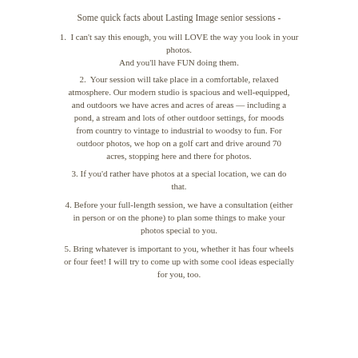Some quick facts about Lasting Image senior sessions -
1. I can't say this enough, you will LOVE the way you look in your photos.
And you'll have FUN doing them.
2. Your session will take place in a comfortable, relaxed atmosphere. Our modern studio is spacious and well-equipped, and outdoors we have acres and acres of areas — including a pond, a stream and lots of other outdoor settings, for moods from country to vintage to industrial to woodsy to fun. For outdoor photos, we hop on a golf cart and drive around 70 acres, stopping here and there for photos.
3. If you'd rather have photos at a special location, we can do that.
4. Before your full-length session, we have a consultation (either in person or on the phone) to plan some things to make your photos special to you.
5. Bring whatever is important to you, whether it has four wheels or four feet! I will try to come up with some cool ideas especially for you, too.